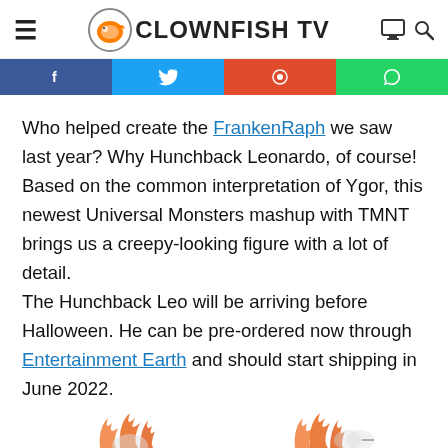Clownfish TV
[Figure (screenshot): Social media share buttons bar: Facebook (blue), Twitter (light blue), Reddit (red/orange), WhatsApp (green)]
Who helped create the FrankenRaph we saw last year? Why Hunchback Leonardo, of course! Based on the common interpretation of Ygor, this newest Universal Monsters mashup with TMNT brings us a creepy-looking figure with a lot of detail.
The Hunchback Leo will be arriving before Halloween. He can be pre-ordered now through Entertainment Earth and should start shipping in June 2022.
[Figure (illustration): Partial illustration of cartoon figures with orange flame decorations at the bottom of the page]